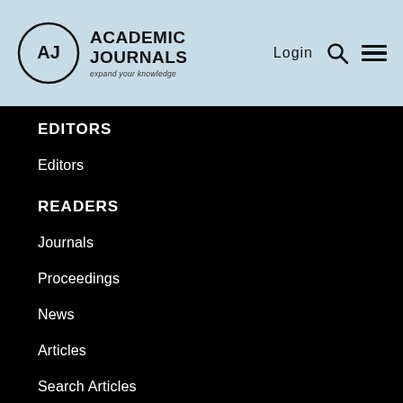[Figure (logo): Academic Journals logo with circle AJ icon and tagline 'expand your knowledge']
EDITORS
Editors
READERS
Journals
Proceedings
News
Articles
Search Articles
Conference Announcements
Perspectives
Subscribe to RSS
POLICIES
Open Access